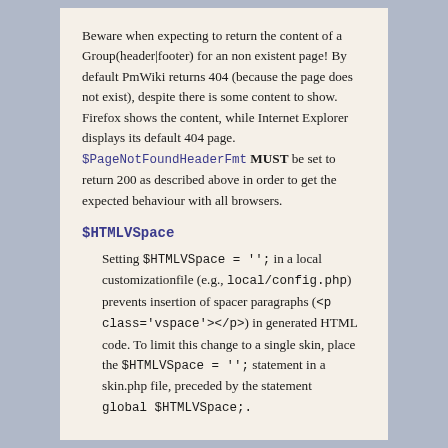Beware when expecting to return the content of a Group(header|footer) for an non existent page! By default PmWiki returns 404 (because the page does not exist), despite there is some content to show. Firefox shows the content, while Internet Explorer displays its default 404 page. $PageNotFoundHeaderFmt MUST be set to return 200 as described above in order to get the expected behaviour with all browsers.
$HTMLVSpace
Setting $HTMLVSpace = ''; in a local customizationfile (e.g., local/config.php) prevents insertion of spacer paragraphs (<p class='vspace'></p>) in generated HTML code. To limit this change to a single skin, place the $HTMLVSpace = ''; statement in a skin.php file, preceded by the statement global $HTMLVSpace;.